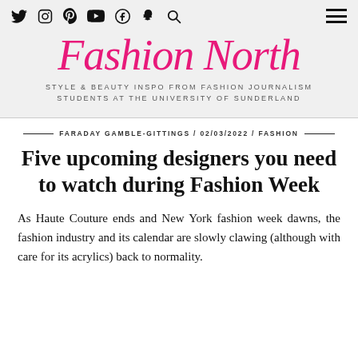Social icons: Twitter, Instagram, Pinterest, YouTube, Facebook, Snapchat, Search | Hamburger menu
Fashion North
STYLE & BEAUTY INSPO FROM FASHION JOURNALISM STUDENTS AT THE UNIVERSITY OF SUNDERLAND
FARADAY GAMBLE-GITTINGS / 02/03/2022 / FASHION
Five upcoming designers you need to watch during Fashion Week
As Haute Couture ends and New York fashion week dawns, the fashion industry and its calendar are slowly clawing (although with care for its acrylics) back to normality.